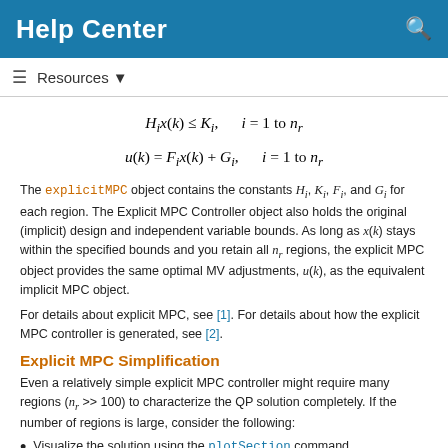Help Center
The explicitMPC object contains the constants H_i, K_i, F_i, and G_i for each region. The Explicit MPC Controller object also holds the original (implicit) design and independent variable bounds. As long as x(k) stays within the specified bounds and you retain all n_r regions, the explicit MPC object provides the same optimal MV adjustments, u(k), as the equivalent implicit MPC object.
For details about explicit MPC, see [1]. For details about how the explicit MPC controller is generated, see [2].
Explicit MPC Simplification
Even a relatively simple explicit MPC controller might require many regions (n_r >> 100) to characterize the QP solution completely. If the number of regions is large, consider the following:
Visualize the solution using the plotSection command.